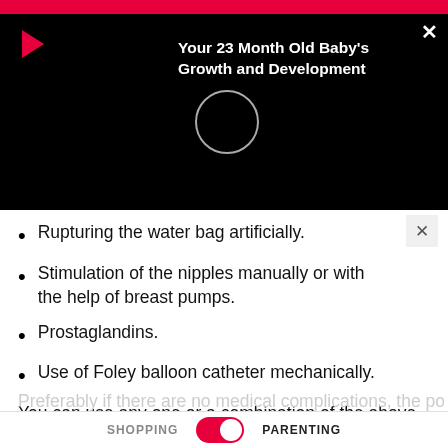[Figure (screenshot): Video thumbnail overlay on black background showing a YouTube-style video player with a red play button, a loading circle, and a title 'Your 23 Month Old Baby's Growth and Development' in white text. A pink top bar and close X button are visible.]
Rupturing the water bag artificially.
Stimulation of the nipples manually or with the help of breast pumps.
Prostaglandins.
Use of Foley balloon catheter mechanically.
You can use any one or a combination of the above options after discussing your condition with your doctor.
Preferably if there are no medical complications, the possible
SHOPPING   PARENTING